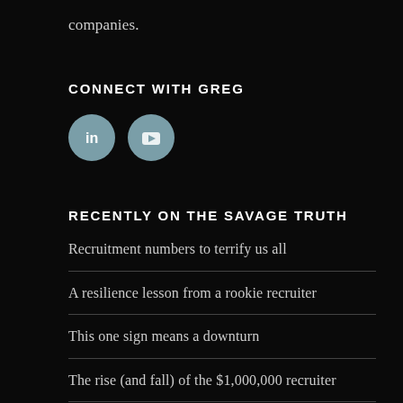companies.
CONNECT WITH GREG
[Figure (illustration): Two circular social media icons: LinkedIn (in) and YouTube (tube icon), both with a muted teal/blue-grey background.]
RECENTLY ON THE SAVAGE TRUTH
Recruitment numbers to terrify us all
A resilience lesson from a rookie recruiter
This one sign means a downturn
The rise (and fall) of the $1,000,000 recruiter
What will your tombstone say?